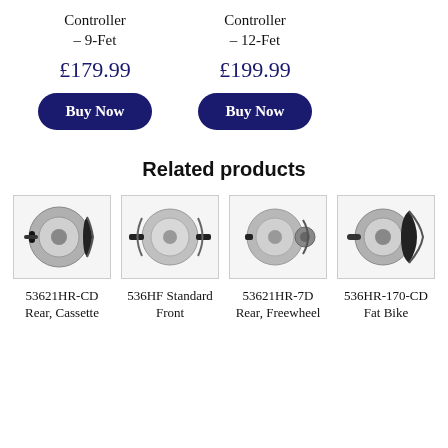Controller – 9-Fet
Controller – 12-Fet
£179.99
£199.99
Buy Now
Buy Now
Related products
[Figure (photo): Electric bike wheel hub motor - 53621HR-CD Rear, Cassette]
[Figure (photo): Electric bike wheel hub motor - 536HF Standard Front]
[Figure (photo): Electric bike wheel hub motor - 53621HR-7D Rear, Freewheel]
[Figure (photo): Electric bike wheel hub motor - 536HR-170-CD Fat Bike]
53621HR-CD Rear, Cassette
536HF Standard Front
53621HR-7D Rear, Freewheel
536HR-170-CD Fat Bike